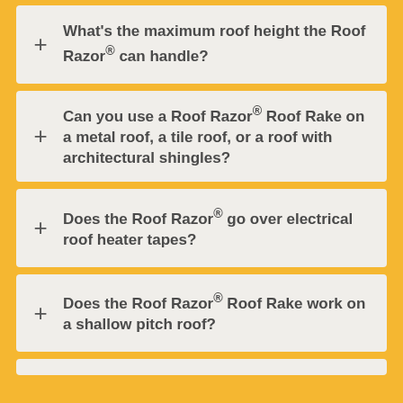What's the maximum roof height the Roof Razor® can handle?
Can you use a Roof Razor® Roof Rake on a metal roof, a tile roof, or a roof with architectural shingles?
Does the Roof Razor® go over electrical roof heater tapes?
Does the Roof Razor® Roof Rake work on a shallow pitch roof?